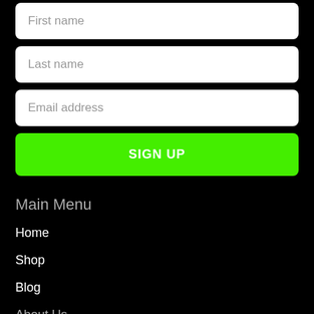[Figure (screenshot): Sign-up form with First name, Last name, Email address input fields and a green SIGN UP button on a black background, followed by a Main Menu section with links: Home, Shop, Blog, About Us, Contact Us]
First name
Last name
Email address
SIGN UP
Main Menu
Home
Shop
Blog
About Us
Contact Us